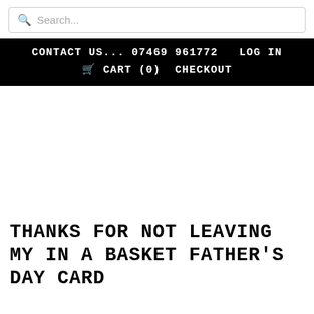Search...
CONTACT US... 07469 961772   LOG IN
🛒 CART (0)   CHECKOUT
[Figure (other): Blank white product image area]
THANKS FOR NOT LEAVING MY IN A BASKET FATHER'S DAY CARD